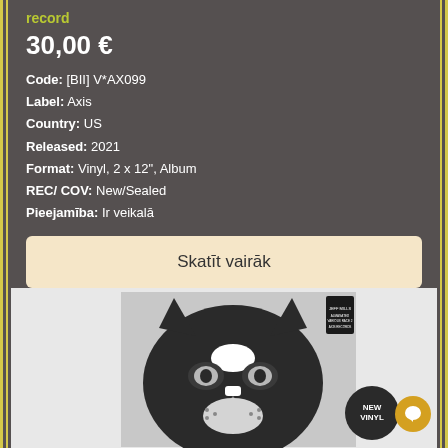record
30,00 €
Code: [BII] V*AX099
Label: Axis
Country: US
Released: 2021
Format: Vinyl, 2 x 12", Album
REC/ COV: New/Sealed
Pieejamība: Ir veikalā
Skatīt vairāk
[Figure (photo): Product image of a vinyl record album with a cat face illustration (black cat on gray/light background). A 'NEW VINYL' badge is visible in the lower right corner.]